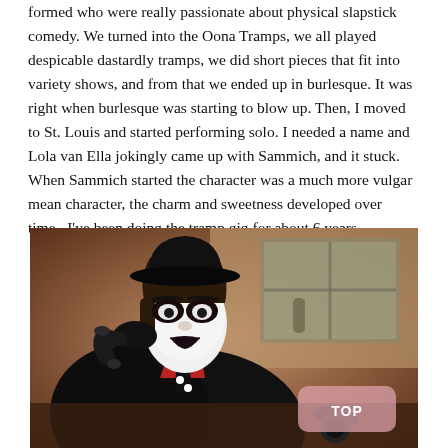formed who were really passionate about physical slapstick comedy. We turned into the Oona Tramps, we all played despicable dastardly tramps, we did short pieces that fit into variety shows, and from that we ended up in burlesque. It was right when burlesque was starting to blow up. Then, I moved to St. Louis and started performing solo. I needed a name and Lola van Ella jokingly came up with Sammich, and it stuck. When Sammich started the character was a much more vulgar mean character, the charm and sweetness developed over time.  I've been doing the tramp gig for about 6 years.
[Figure (photo): A performer dressed as a mime/tramp character with white face paint, black eye makeup, black lipstick, a bowler hat, black jacket, red shirt, and black and white polka dot tie, holding an old-fashioned telephone receiver to their ear. The background shows a warm sepia-toned room with a window. A pink 'TOP' button is overlaid in the bottom right corner.]